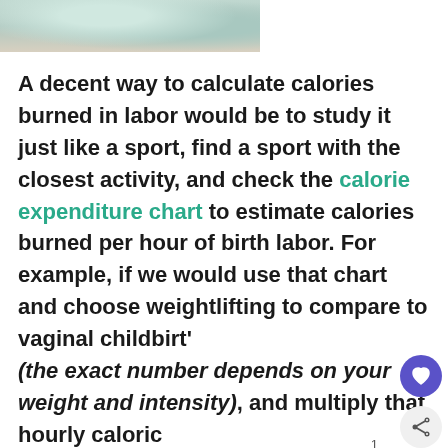[Figure (photo): Partial photo of a person, cropped at top of page]
A decent way to calculate calories burned in labor would be to study it just like a sport, find a sport with the closest activity, and check the calorie expenditure chart to estimate calories burned per hour of birth labor. For example, if we would use that chart and choose weightlifting to compare to vaginal childbirt' 1 (the exact number depends on your weight and intensity), and multiply that hourly caloric expenditure by typical hours of labor.